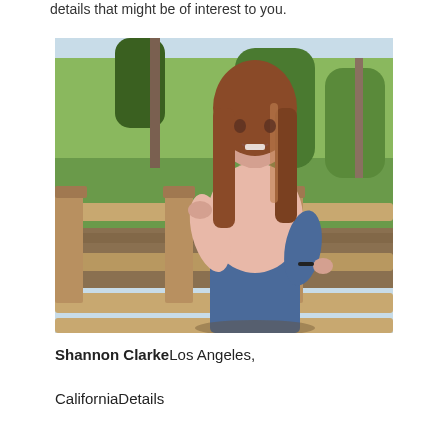details that might be of interest to you.
[Figure (photo): Young woman with long auburn hair wearing a light pink top and blue jeans, leaning on a wooden railing/fence outdoors with green trees and vegetation in the background. Sunny day.]
Shannon ClarkeLos Angeles,
CaliforniaDetails